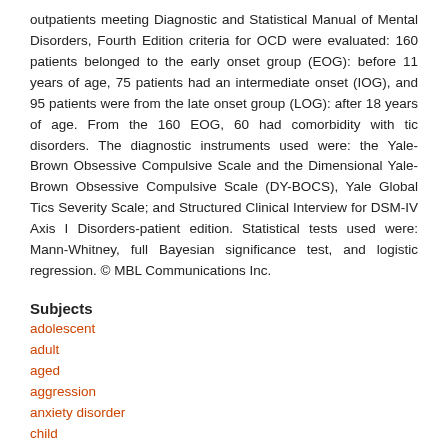outpatients meeting Diagnostic and Statistical Manual of Mental Disorders, Fourth Edition criteria for OCD were evaluated: 160 patients belonged to the early onset group (EOG): before 11 years of age, 75 patients had an intermediate onset (IOG), and 95 patients were from the late onset group (LOG): after 18 years of age. From the 160 EOG, 60 had comorbidity with tic disorders. The diagnostic instruments used were: the Yale-Brown Obsessive Compulsive Scale and the Dimensional Yale-Brown Obsessive Compulsive Scale (DY-BOCS), Yale Global Tics Severity Scale; and Structured Clinical Interview for DSM-IV Axis I Disorders-patient edition. Statistical tests used were: Mann-Whitney, full Bayesian significance test, and logistic regression. © MBL Communications Inc.
Subjects
adolescent
adult
aged
aggression
anxiety disorder
child
cleaning
comorbidity
contamination
controlled study